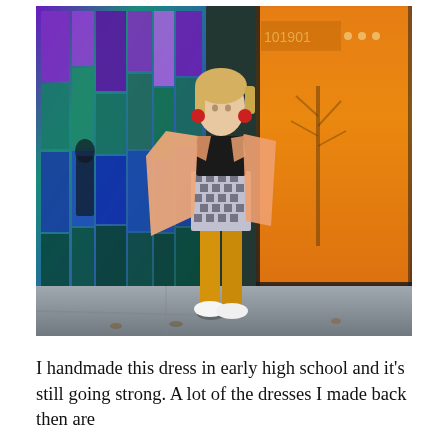[Figure (photo): A young woman with short blonde hair and red statement earrings poses outdoors in front of a colorful iridescent wall of rectangular panels in blues, purples, teals, and magentas, beside a large reflective amber/orange window. She wears a peach/salmon blazer open over a black top, a houndstooth mini dress/skirt, bright mustard yellow tights, and white sneakers. She stands on a sidewalk with one foot slightly forward.]
I handmade this dress in early high school and it's still going strong. A lot of the dresses I made back then are